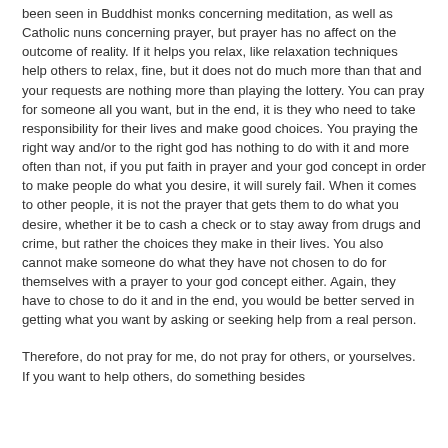been seen in Buddhist monks concerning meditation, as well as Catholic nuns concerning prayer, but prayer has no affect on the outcome of reality. If it helps you relax, like relaxation techniques help others to relax, fine, but it does not do much more than that and your requests are nothing more than playing the lottery. You can pray for someone all you want, but in the end, it is they who need to take responsibility for their lives and make good choices. You praying the right way and/or to the right god has nothing to do with it and more often than not, if you put faith in prayer and your god concept in order to make people do what you desire, it will surely fail. When it comes to other people, it is not the prayer that gets them to do what you desire, whether it be to cash a check or to stay away from drugs and crime, but rather the choices they make in their lives. You also cannot make someone do what they have not chosen to do for themselves with a prayer to your god concept either. Again, they have to chose to do it and in the end, you would be better served in getting what you want by asking or seeking help from a real person.
Therefore, do not pray for me, do not pray for others, or yourselves. If you want to help others, do something besides